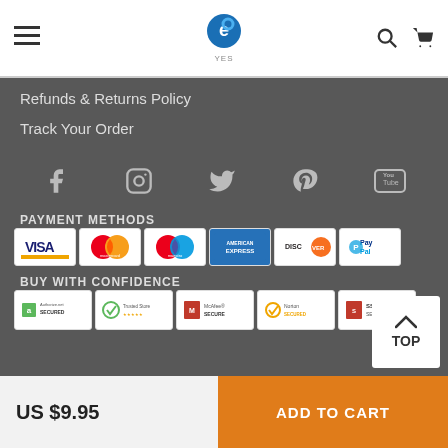YES [logo] navigation header with hamburger menu, search, and cart icons
Refunds & Returns Policy
Track Your Order
[Figure (infographic): Social media icons: Facebook, Instagram, Twitter, Pinterest, YouTube]
PAYMENT METHODS
[Figure (infographic): Payment method logos: Visa, Mastercard, Maestro, American Express, Discover, PayPal]
BUY WITH CONFIDENCE
[Figure (infographic): Trust badges: Authorize.net Secured, Trusted Store, McAfee Secure, Norton Secured, SSL Secure]
US $9.95   ADD TO CART